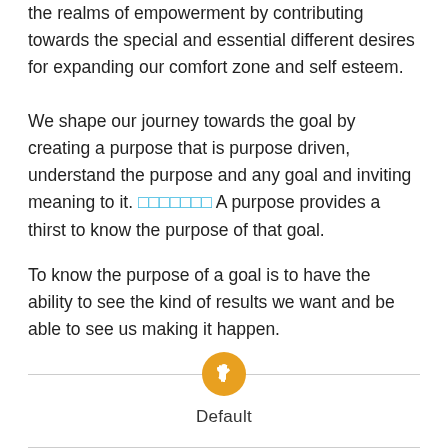the realms of empowerment by contributing towards the special and essential different desires for expanding our comfort zone and self esteem.
We shape our journey towards the goal by creating a purpose that is purpose driven, understand the purpose and any goal and inviting meaning to it. □□□□□□□ A purpose provides a thirst to know the purpose of that goal.
To know the purpose of a goal is to have the ability to see the kind of results we want and be able to see us making it happen.
[Figure (other): Orange circular pin/bookmark icon with a pushpin symbol inside]
Default